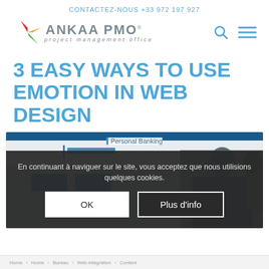CONTACTEZ-NOUS +33 972 197 927
[Figure (logo): Ankaa PMO logo with colorful star/compass graphic and text 'ANKAA PMO project management office']
3 EASY WAYS TO USE EMOTION IN WEB DESIGN
[Figure (screenshot): Screenshot of a banking website with 'Personal Banking' visible, partially obscured by cookie consent overlay]
En continuant à naviguer sur le site, vous acceptez que nous utilisions quelques cookies.
OK
Plus d'info
Home › Home › Bureau › Web-integration › Content